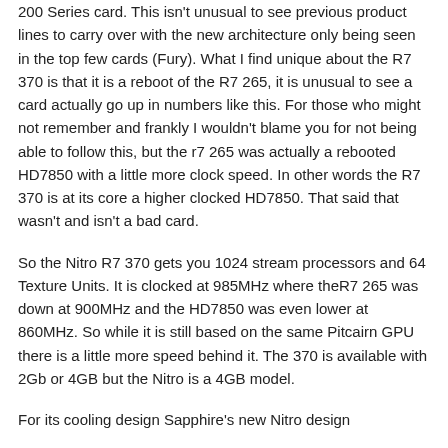200 Series card. This isn't unusual to see previous product lines to carry over with the new architecture only being seen in the top few cards (Fury). What I find unique about the R7 370 is that it is a reboot of the R7 265, it is unusual to see a card actually go up in numbers like this. For those who might not remember and frankly I wouldn't blame you for not being able to follow this, but the r7 265 was actually a rebooted HD7850 with a little more clock speed. In other words the R7 370 is at its core a higher clocked HD7850. That said that wasn't and isn't a bad card.
So the Nitro R7 370 gets you 1024 stream processors and 64 Texture Units. It is clocked at 985MHz where theR7 265 was down at 900MHz and the HD7850 was even lower at 860MHz. So while it is still based on the same Pitcairn GPU there is a little more speed behind it. The 370 is available with 2Gb or 4GB but the Nitro is a 4GB model.
For its cooling design Sapphire's new Nitro design